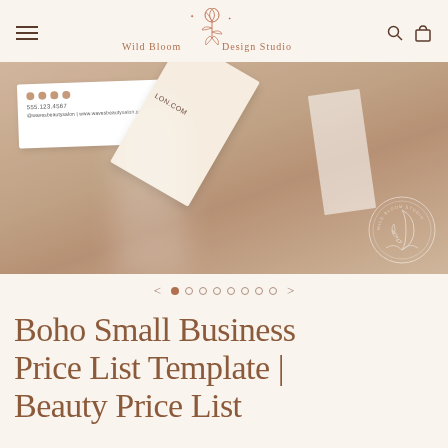Wild Bloom Design Studio
[Figure (photo): Product photo showing business cards on kraft paper background with light beams and Wild Bloom Design Studio watermark logo]
< • ○ ○ ○ ○ ○ ○ >
Boho Small Business Price List Template | Beauty Price List